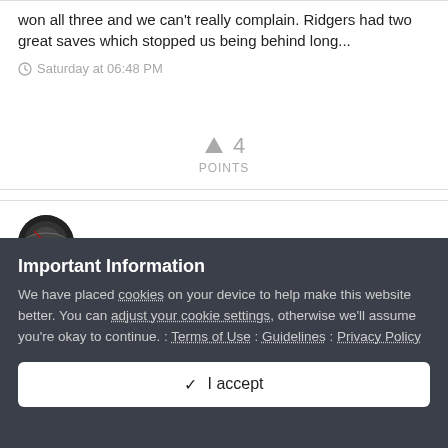won all three and we can't really complain. Ridgers had two great saves which stopped us being behind long...
Saturday at 06:48 PM
▲ 4
POINTS
Inverness v Morton - Preview
Important Information
We have placed cookies on your device to help make this website better. You can adjust your cookie settings, otherwise we'll assume you're okay to continue. : Terms of Use : Guidelines : Privacy Policy
✓ I accept